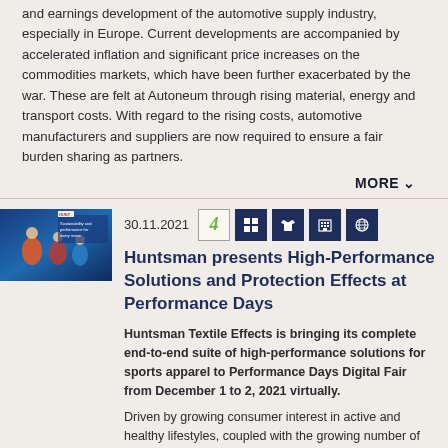and earnings development of the automotive supply industry, especially in Europe. Current developments are accompanied by accelerated inflation and significant price increases on the commodities markets, which have been further exacerbated by the war. These are felt at Autoneum through rising material, energy and transport costs. With regard to the rising costs, automotive manufacturers and suppliers are now required to ensure a fair burden sharing as partners.
MORE
[Figure (photo): Photo showing athletes/cyclists with blue background and text about sustainability and performance]
30.11.2021
Huntsman presents High-Performance Solutions and Protection Effects at Performance Days
Huntsman Textile Effects is bringing its complete end-to-end suite of high-performance solutions for sports apparel to Performance Days Digital Fair from December 1 to 2, 2021 virtually.
Driven by growing consumer interest in active and healthy lifestyles, coupled with the growing number of national sports participation programs that promote healthy living, the global sportwear market